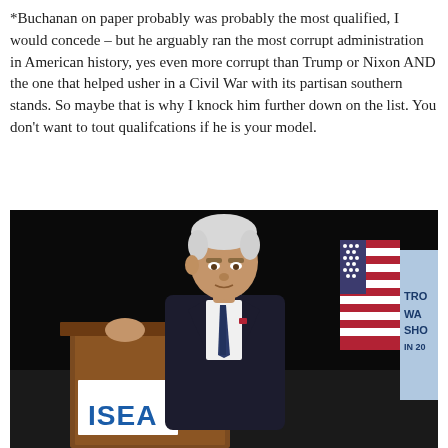*Buchanan on paper probably was probably the most qualified, I would concede – but he arguably ran the most corrupt administration in American history, yes even more corrupt than Trump or Nixon AND the one that helped usher in a Civil War with its partisan southern stands. So maybe that is why I knock him further down on the list. You don't want to tout qualifcations if he is your model.
[Figure (photo): A man in a dark suit speaking at a wooden podium with 'ISEA' lettering, holding a microphone, with an American flag and a blue banner partially reading 'TROY WALL SHO' in the background. The background is dark.]